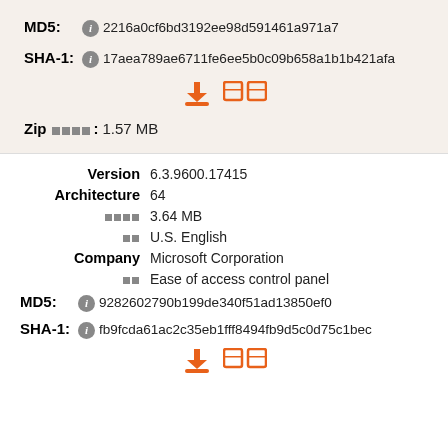MD5: 2216a0cf6bd3192ee98d591461a971a7
SHA-1: 17aea789ae6711fe6ee5b0c09b658a1b1b421afa
[Figure (other): Download icon and two box icons in orange]
Zip 文件大小: 1.57 MB
Version 6.3.9600.17415
Architecture 64
文件大小 3.64 MB
语言 U.S. English
Company Microsoft Corporation
说明 Ease of access control panel
MD5: 9282602790b199de340f51ad13850ef0
SHA-1: fb9fcda61ac2c35eb1fff8494fb9d5c0d75c1bec
[Figure (other): Download icon and two box icons in orange]